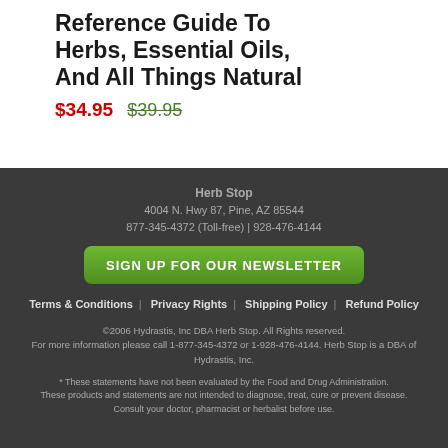Reference Guide To Herbs, Essential Oils, And All Things Natural
$34.95  $39.95
Herb Stop
4004 N. Hwy 87, Pine, AZ 85544
877-345-4372 (Toll-free) | 928-476-4144
SIGN UP FOR OUR NEWSLETTER
Terms & Conditions | Privacy Rights | Shipping Policy | Refund Policy
©2006 Hydrastis, Inc DBA Herb Stop. All Rights reserved. For more information please call 1-877-345-4372 or 1-928-476-4144. Herb Stop is a DBA of Hydrastis, Inc.
* These statements have not been evaluated by the Food and Drug Administration. These products and statements are not intended to diagnose, treat, cure or prevent disease. Consult your doctor, pharmacist or herbalist before use.